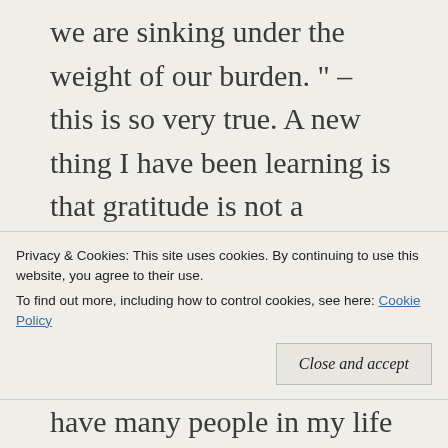we are sinking under the weight of our burden. " – this is so very true. A new thing I have been learning is that gratitude is not a optional extra during prolonged hard times, where it's one thing after another, or one thing continuing on, with no end in sight. I have lost so many friends during the prolonged hard times and I wonder if I
Privacy & Cookies: This site uses cookies. By continuing to use this website, you agree to their use. To find out more, including how to control cookies, see here: Cookie Policy
Close and accept
have many people in my life still – some